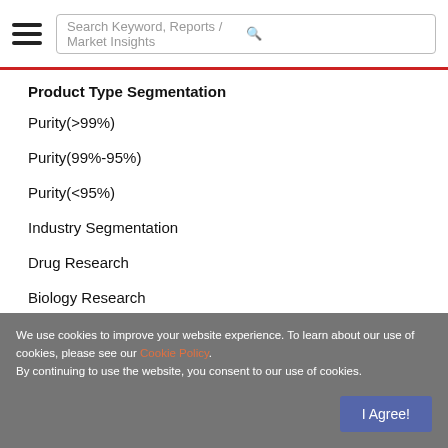Search Keyword, Reports / Market Insights
Product Type Segmentation
Purity(>99%)
Purity(99%-95%)
Purity(<95%)
Industry Segmentation
Drug Research
Biology Research
Channel (Direct Sales, Distributor) Segmentation
Section 8: 400 USD——Trend (2018-2022)
We use cookies to improve your website experience. To learn about our use of cookies, please see our Cookie Policy.
By continuing to use the website, you consent to our use of cookies.